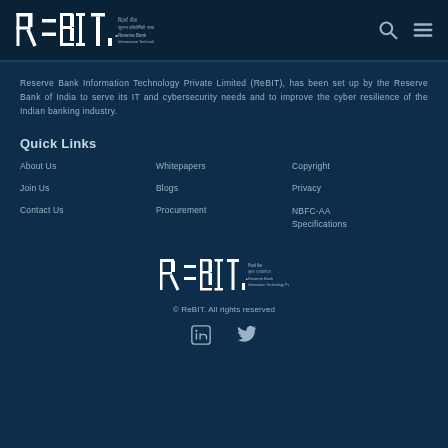ReBIT - Reserve Bank Information Technology Private Limited
Reserve Bank Information Technology Private Limited (ReBIT), has been set up by the Reserve Bank of India to serve its IT and cybersecurity needs and to improve the cyber resilience of the Indian banking industry.
Quick Links
About Us
Whitepapers
Copyright
Join Us
Blogs
Privacy
Contact Us
Procurement
NBFC-AA Specifications
[Figure (logo): ReBIT logo centered in footer area]
© ReBIT. All rights reserved